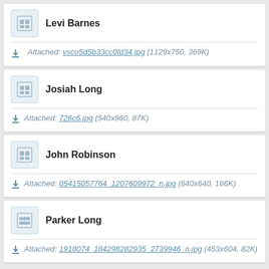Levi Barnes
Attached: vsco5d5b33cc0fd34.jpg (1129x750, 369K)
Josiah Long
Attached: 726c6.jpg (540x960, 87K)
John Robinson
Attached: 05415057764_1207609972_n.jpg (640x640, 166K)
Parker Long
Attached: 1918074_184298282935_2739946_n.jpg (453x604, 82K)